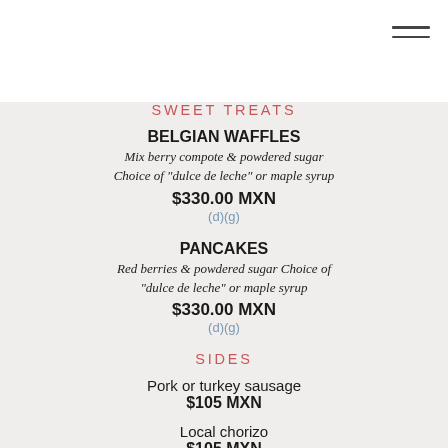[Figure (other): Hamburger menu icon (three horizontal lines) in top right corner]
SWEET TREATS
BELGIAN WAFFLES
Mix berry compote & powdered sugar
Choice of "dulce de leche" or maple syrup
$330.00 MXN
(d)(g)
PANCAKES
Red berries & powdered sugar Choice of "dulce de leche" or maple syrup
$330.00 MXN
(d)(g)
SIDES
Pork or turkey sausage
$105 MXN
Local chorizo
$105 MXN
Asparagus
$160 MXN
Avocado